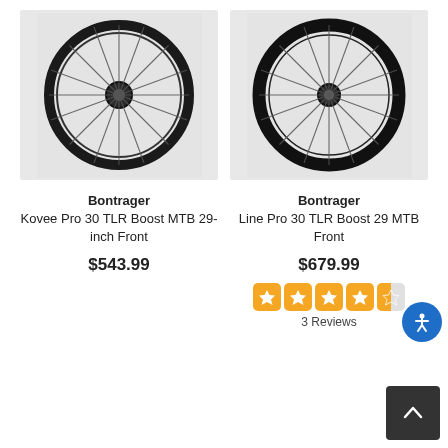[Figure (photo): Bontrager Kovee Pro 30 TLR Boost MTB 29-inch Front bicycle wheel, black spoke wheel on light gray background]
Bontrager
Kovee Pro 30 TLR Boost MTB 29-inch Front
$543.99
[Figure (photo): Bontrager Line Pro 30 TLR Boost 29 MTB Front bicycle wheel, black spoke wheel on light gray background]
Bontrager
Line Pro 30 TLR Boost 29 MTB Front
$679.99
3 Reviews